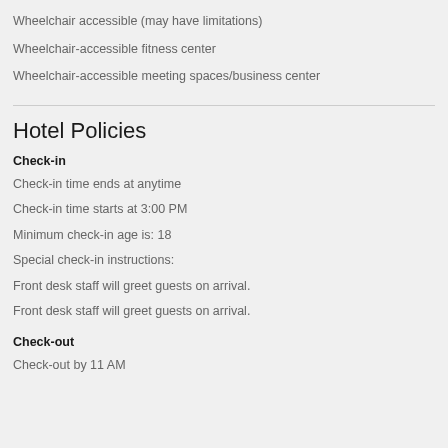Wheelchair accessible (may have limitations)
Wheelchair-accessible fitness center
Wheelchair-accessible meeting spaces/business center
Hotel Policies
Check-in
Check-in time ends at anytime
Check-in time starts at 3:00 PM
Minimum check-in age is: 18
Special check-in instructions:
Front desk staff will greet guests on arrival.
Front desk staff will greet guests on arrival.
Check-out
Check-out by 11 AM